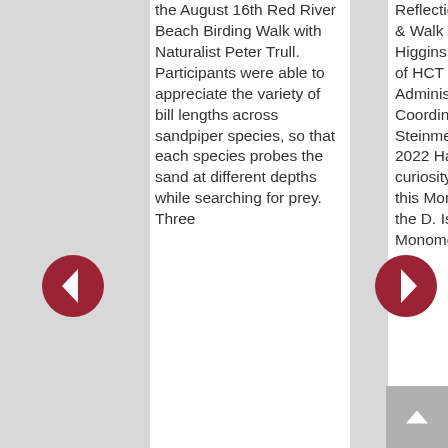the August 16th Red River Beach Birding Walk with Naturalist Peter Trull. Participants were able to appreciate the variety of bill lengths across sandpiper species, so that each species probes the sand at different depths while searching for prey. Three
Reflections by Naturalist & Walk Leader Andrea Higgins Photos courtesy of HCT Outreach and Administrative Coordinator Halley Steinmetz August 15, 2022 Happiness and curiosity were abundant this Monday morning at the D. Isabel Smith Monomoy
[Figure (other): Left navigation arrow button - dark red circle with white left-pointing chevron]
[Figure (other): Right navigation arrow button - dark red circle with white right-pointing chevron]
[Figure (other): Back to top button - grey square with white upward-pointing chevron]